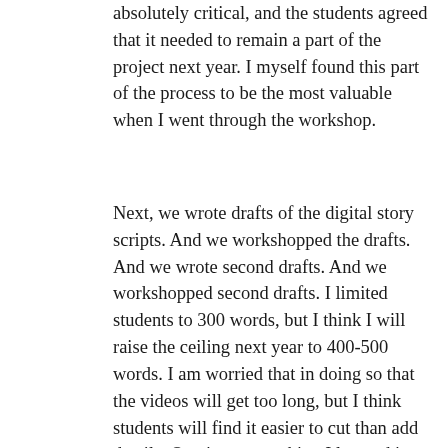absolutely critical, and the students agreed that it needed to remain a part of the project next year. I myself found this part of the process to be the most valuable when I went through the workshop.
Next, we wrote drafts of the digital story scripts. And we workshopped the drafts. And we wrote second drafts. And we workshopped second drafts. I limited students to 300 words, but I think I will raise the ceiling next year to 400-500 words. I am worried that in doing so that the videos will get too long, but I think students will find it easier to cut than add details. One important thing I learned in my own workshop is that five minutes is really a good upper limit. Longer, and the viewer loses interest. Three minutes seems to be a sweet spot.
After that, I gave students a tutorial in using iMovie and GarageBand to put together their movies and